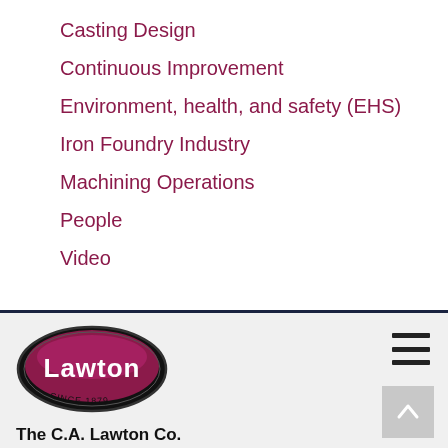Casting Design
Continuous Improvement
Environment, health, and safety (EHS)
Iron Foundry Industry
Machining Operations
People
Video
[Figure (logo): Lawton company logo — oval badge with 'Lawton' text and 'SINCE 1879' below]
The C.A. Lawton Co.
1950 Enterprise Dr, De Pere,